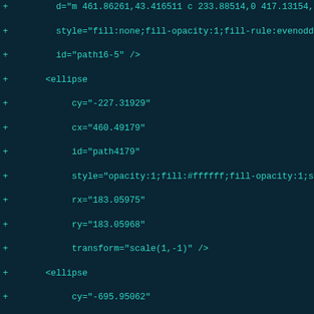[Figure (screenshot): Code editor screenshot showing SVG/XML diff with lines prefixed by '+' signs, displaying SVG element attributes for ellipse and path elements with coordinates and style properties. Dark teal background with cyan monospace text.]